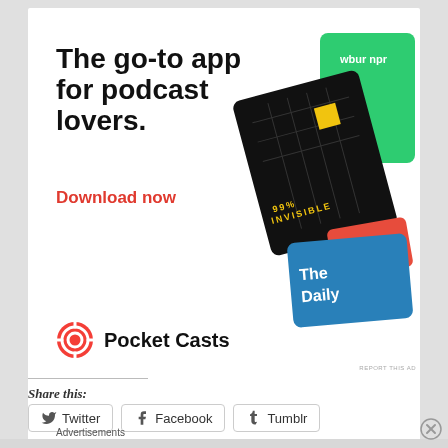Advertisements
[Figure (screenshot): Pocket Casts advertisement showing 'The go-to app for podcast lovers.' headline with podcast app cards (99% Invisible, The Daily, NPR) on the right side, and Pocket Casts logo at the bottom]
Share this:
[Figure (screenshot): Twitter share button with bird icon]
[Figure (screenshot): Facebook share button with F icon]
[Figure (screenshot): Tumblr share button with t icon]
Advertisements
[Figure (screenshot): DuckDuckGo advertisement: 'Search, browse, and email with more privacy. All in One Free App' with orange background on left and DuckDuckGo logo on dark right panel]